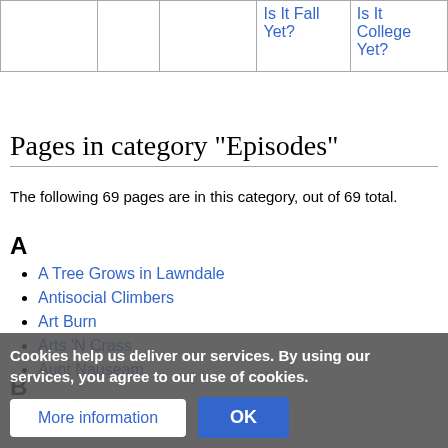|  |  |  | Is It Fall Yet? | Is It College Yet? |
| --- | --- | --- | --- | --- |
|  |
Pages in category "Episodes"
The following 69 pages are in this category, out of 69 total.
A
A Tree Grows in Lawndale
Antisocial Climbers
Art Burn
Arts 'N Crass
Aunt Nauseam
B
The Big House
C
Cafe Disaffe...
Cookies help us deliver our services. By using our services, you agree to our use of cookies.